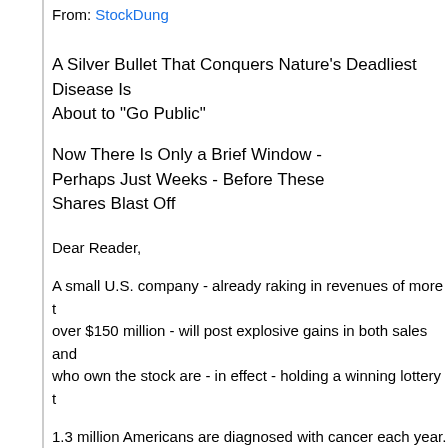From: StockDung
A Silver Bullet That Conquers Nature's Deadliest Disease Is About to "Go Public"
Now There Is Only a Brief Window - Perhaps Just Weeks - Before These Shares Blast Off
Dear Reader,
A small U.S. company - already raking in revenues of more than over $150 million - will post explosive gains in both sales and who own the stock are - in effect - holding a winning lottery t
1.3 million Americans are diagnosed with cancer each year. the U.S. die from it every day.
But one company is doing something about it. No... not a bio through Phase III trials, but rather a medical technology firm cancer tumors right now in hundreds of hospitals around the
How? With a new cutting-edge technology only recently unv